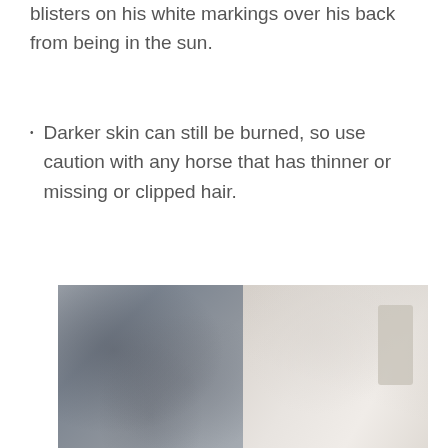blisters on his white markings over his back from being in the sun.
Darker skin can still be burned, so use caution with any horse that has thinner or missing or clipped hair.
[Figure (photo): A two-panel photo showing a close-up of dark grey horse hair on the left side and lighter/white horse hair or coat on the right side, photographed indoors near what appears to be stable woodwork.]